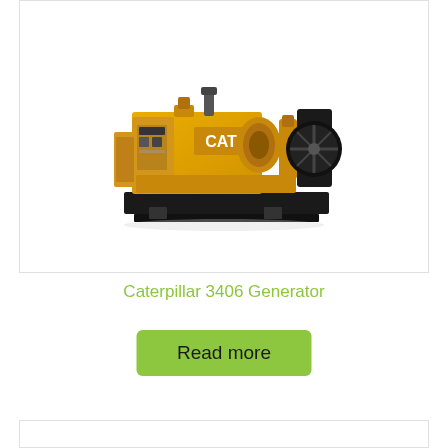[Figure (photo): Caterpillar 3406 industrial diesel generator set, yellow and black, shown from a three-quarter front view on a white background within a white bordered card]
Caterpillar 3406 Generator
Read more